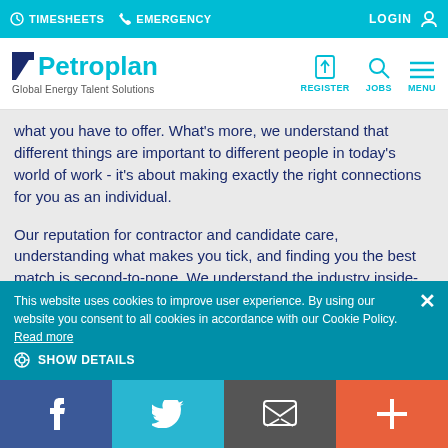TIMESHEETS  EMERGENCY  LOGIN
[Figure (logo): Petroplan logo with tagline 'Global Energy Talent Solutions' and navigation icons for REGISTER, JOBS, MENU]
what you have to offer. What's more, we understand that different things are important to different people in today's world of work - it's about making exactly the right connections for you as an individual.

Our reputation for contractor and candidate care, understanding what makes you tick, and finding you the best match is second-to-none. We understand the industry inside-out and seek to
This website uses cookies to improve user experience. By using our website you consent to all cookies in accordance with our Cookie Policy. Read more
SHOW DETAILS
f  [twitter]  [email]  +